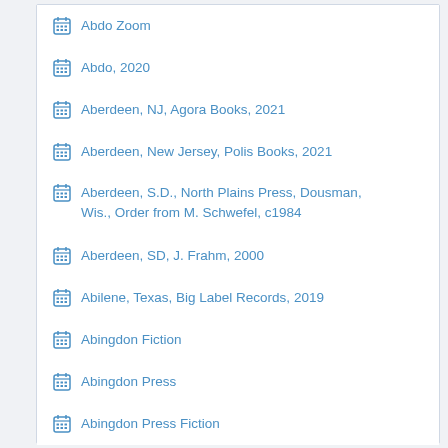Abdo Zoom
Abdo, 2020
Aberdeen, NJ, Agora Books, 2021
Aberdeen, New Jersey, Polis Books, 2021
Aberdeen, S.D., North Plains Press, Dousman, Wis., Order from M. Schwefel, c1984
Aberdeen, SD, J. Frahm, 2000
Abilene, Texas, Big Label Records, 2019
Abingdon Fiction
Abingdon Press
Abingdon Press Fiction